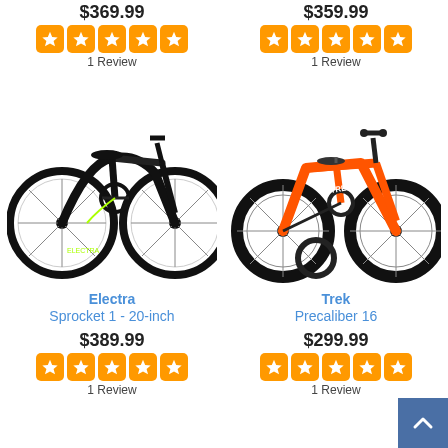$369.99
[Figure (infographic): 5-star orange rating widget]
1 Review
$359.99
[Figure (infographic): 5-star orange rating widget]
1 Review
[Figure (photo): Electra Sprocket 1 20-inch black kids bike on white background]
[Figure (photo): Trek Precaliber 16 orange kids bike on white background]
Electra
Sprocket 1 - 20-inch
$389.99
[Figure (infographic): 5-star orange rating widget]
1 Review
Trek
Precaliber 16
$299.99
[Figure (infographic): 5-star orange rating widget]
1 Review